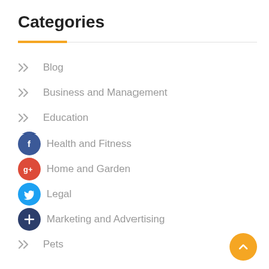Categories
Blog
Business and Management
Education
Health and Fitness
Home and Garden
Legal
Marketing and Advertising
Pets